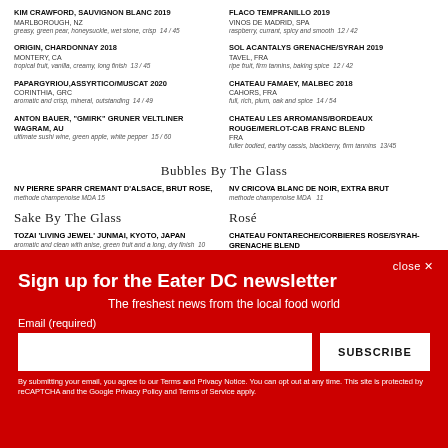KIM CRAWFORD, SAUVIGNON BLANC 2019 MARLBOROUGH, NZ greasy, green pear, honeysuckle, wet stone, crisp 14/45
FLACO TEMPRANILLO 2019 VINOS DE MADRID, SPA raspberry, currant, spicy and smooth 12/42
ORIGIN, CHARDONNAY 2018 MONTERY, CA tropical fruit, vanilla, creamy, long finish 13/45
SOL ACANTALYS GRENACHE/SYRAH 2019 TAVEL, FRA ripe fruit, firm tannins, baking spice 12/42
PAPARGYRIOU,ASSYRTICO/MUSCAT 2020 CORINTHIA, GRC aromatic and crisp, mineral, outstanding 14/49
CHATEAU FAMAEY, MALBEC 2018 CAHORS, FRA full, rich, plum, oak and spice 14/54
ANTON BAUER, "GMIRK" GRUNER VELTLINER WAGRAM, AU ultimate sushi wine, green apple, white pepper 15/60
CHATEAU LES ARROMANS/BORDEAUX ROUGE/MERLOT-CAB FRANC BLEND FRA fuller bodied, earthy cassis, blackberry, firm tannins 13/45
Bubbles By The Glass
NV PIERRE SPARR CREMANT D'ALSACE, BRUT ROSE, methode champenoise MDA 15
NV CRICOVA BLANC DE NOIR, EXTRA BRUT methode champenoise MDA 11
Sake By The Glass
Rosé
TOZAI 'LIVING JEWEL' JUNMAI, KYOTO, JAPAN aromatic and clean with anise, green fruit and a long, dry finish 10
CHATEAU FONTARECHE/CORBIERES ROSE/SYRAH-GRENACHE BLEND FRA
Sign up for the Eater DC newsletter
The freshest news from the local food world
Email (required)
SUBSCRIBE
By submitting your email, you agree to our Terms and Privacy Notice. You can opt out at any time. This site is protected by reCAPTCHA and the Google Privacy Policy and Terms of Service apply.